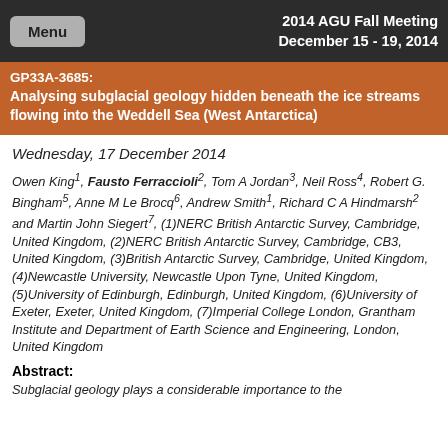2014 AGU Fall Meeting December 15 - 19, 2014
GP33A-3685: Analysing subglacial geology hidden beneath the ice streams flowing into the Weddell Sea (West Antarctica)
Wednesday, 17 December 2014
Owen King1, Fausto Ferraccioli2, Tom A Jordan3, Neil Ross4, Robert G. Bingham5, Anne M Le Brocq6, Andrew Smith1, Richard C A Hindmarsh2 and Martin John Siegert7, (1)NERC British Antarctic Survey, Cambridge, United Kingdom, (2)NERC British Antarctic Survey, Cambridge, CB3, United Kingdom, (3)British Antarctic Survey, Cambridge, United Kingdom, (4)Newcastle University, Newcastle Upon Tyne, United Kingdom, (5)University of Edinburgh, Edinburgh, United Kingdom, (6)University of Exeter, Exeter, United Kingdom, (7)Imperial College London, Grantham Institute and Department of Earth Science and Engineering, London, United Kingdom
Abstract:
Subglacial geology plays a considerable...